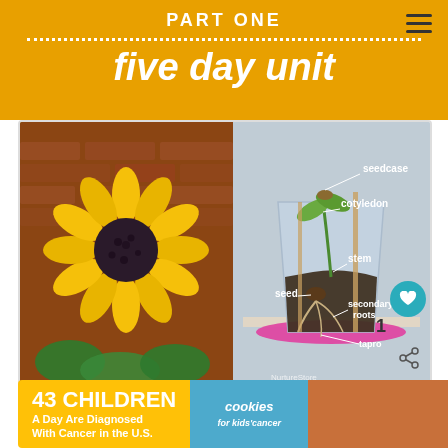PART ONE
five day unit
[Figure (photo): Left: sunflower art made of handprints with yellow petals and dark seeds on brick wall background. Right: labeled diagram of seed germination in a clear cup showing seedcase, cotyledon, stem, seed, secondary roots, and taproot labels.]
WHAT'S NEXT → Thematic Units
[Figure (photo): Advertisement banner: '43 CHILDREN A Day Are Diagnosed With Cancer in the U.S.' with cookies for kids cancer logo and 'Let's Get Baking' text.]